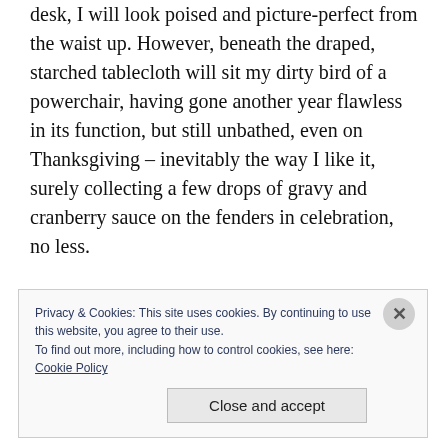desk, I will look poised and picture-perfect from the waist up. However, beneath the draped, starched tablecloth will sit my dirty bird of a powerchair, having gone another year flawless in its function, but still unbathed, even on Thanksgiving – inevitably the way I like it, surely collecting a few drops of gravy and cranberry sauce on the fenders in celebration, no less.
Privacy & Cookies: This site uses cookies. By continuing to use this website, you agree to their use.
To find out more, including how to control cookies, see here:
Cookie Policy
[Close and accept]